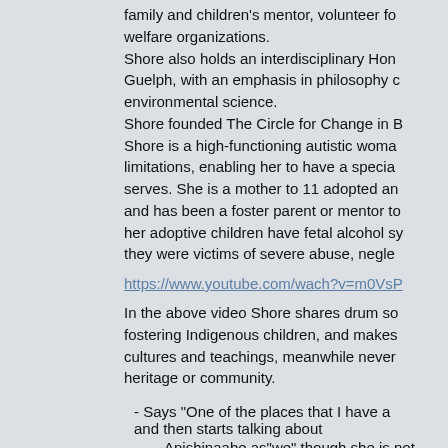family and children's mentor, volunteer fo welfare organizations.
Shore also holds an interdisciplinary Hon Guelph, with an emphasis in philosophy c environmental science.
Shore founded The Circle for Change in B Shore is a high-functioning autistic woma limitations, enabling her to have a specia serves. She is a mother to 11 adopted an and has been a foster parent or mentor to her adoptive children have fetal alcohol sy they were victims of severe abuse, negle
https://www.youtube.com/wach?v=m0VsP
In the above video Shore shares drum so fostering Indigenous children, and makes cultures and teachings, meanwhile never heritage or community.
- Says "One of the places that I have a and then starts talking about
Anishinaabe as"we" though she is not
- Also "Just so you know, I'm a little bit over the years, and so we